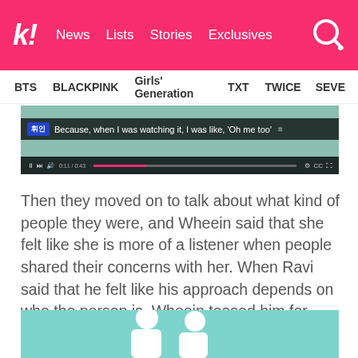k! News Lists Stories Exclusives
BTS BLACKPINK Girls' Generation TXT TWICE SEVE
[Figure (screenshot): Video player screenshot showing subtitle: 'Because, when I was watching it, I was like, Oh me too' with name badge '휘인' and video controls at bottom]
Then they moved on to talk about what kind of people they were, and Wheein said that she felt like she is more of a listener when people shared their concerns with her. When Ravi said that he felt like his approach depends on who the person is, Wheein teased him for saying something so obvious.
[Figure (photo): Two people sitting against a mint/teal green background, partially visible at bottom of page]